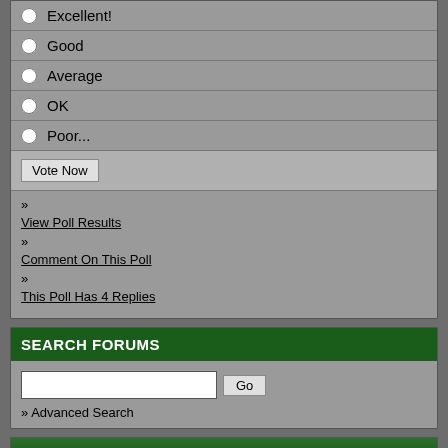Excellent!
Good
Average
OK
Poor...
Vote Now
» View Poll Results
» Comment On This Poll
» This Poll Has 4 Replies
SEARCH FORUMS
» Advanced Search
All times are GMT -5. The time now is 05:53 PM.
Powered by vBulletin®
Copyright ©2000 - 2022, vBulletin Solutions, Inc.
Powered by vBadvanced CMPS